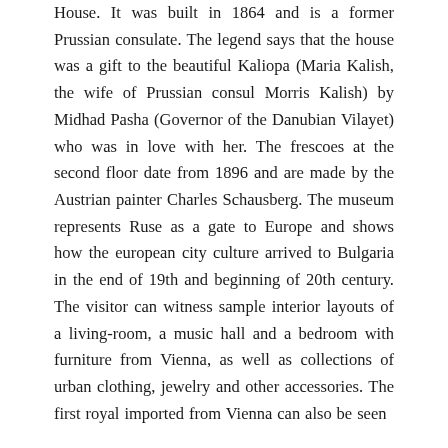House. It was built in 1864 and is a former Prussian consulate. The legend says that the house was a gift to the beautiful Kaliopa (Maria Kalish, the wife of Prussian consul Morris Kalish) by Midhad Pasha (Governor of the Danubian Vilayet) who was in love with her. The frescoes at the second floor date from 1896 and are made by the Austrian painter Charles Schausberg. The museum represents Ruse as a gate to Europe and shows how the european city culture arrived to Bulgaria in the end of 19th and beginning of 20th century. The visitor can witness sample interior layouts of a living-room, a music hall and a bedroom with furniture from Vienna, as well as collections of urban clothing, jewelry and other accessories. The first royal imported from Vienna can also be seen